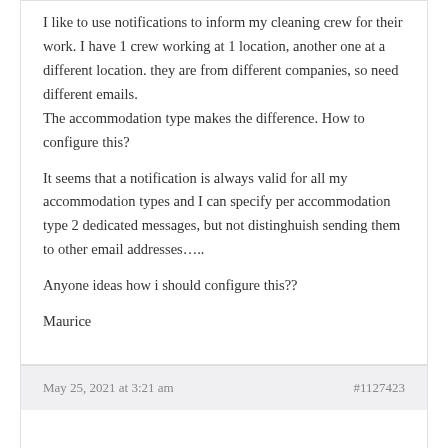I like to use notifications to inform my cleaning crew for their work. I have 1 crew working at 1 location, another one at a different location. they are from different companies, so need different emails.
The accommodation type makes the difference. How to configure this?

It seems that a notification is always valid for all my accommodation types and I can specify per accommodation type 2 dedicated messages, but not distinghuish sending them to other email addresses…..

Anyone ideas how i should configure this??

Maurice
May 25, 2021 at 3:21 am
#1127423
Andre Flores
Moderator

Hello Maurice,